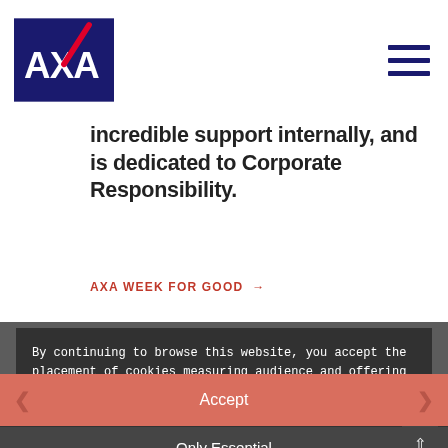AXA logo and navigation menu
incredible support internally, and is dedicated to Corporate Responsibility.
AXA WEEK FOR GOOD →
[Figure (screenshot): Cookie consent overlay on AXA website with dark background, showing cookie policy text, links, Accept button and Only Essential button over a background image with text ELA - Mets tes baskets and AXA employees in Luxembourg walk or]
By continuing to browse this website, you accept the placement of cookies measuring audience and offering you videos, sharing buttons and content updates from social platforms.
Find out more about the cookie policy | Personalize cookies
Accept
ELA - Mets tes baskets
Only Essential
AXA employees in Luxembourg walk or